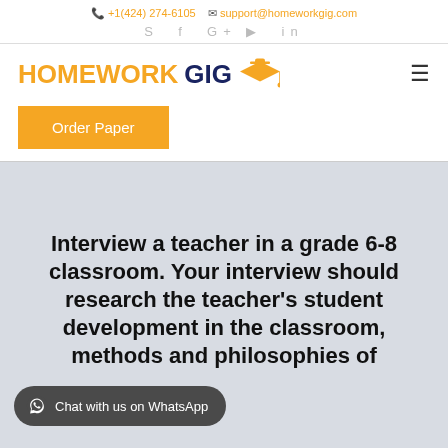+1(424) 274-6105  support@homeworkgig.com  S f G+ ▶ in
[Figure (logo): HOMEWORK GIG logo with orange graduation cap and hamburger menu icon]
Order Paper
Interview a teacher in a grade 6-8 classroom. Your interview should research the teacher's student development in the classroom, methods and philosophies of